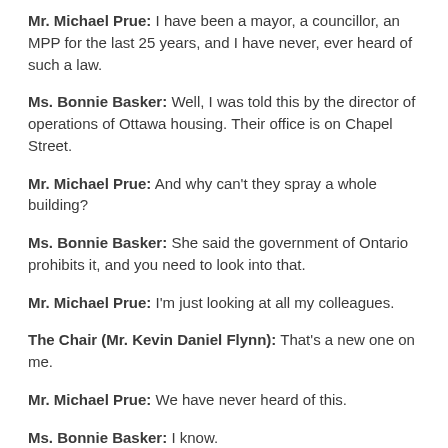Mr. Michael Prue: I have been a mayor, a councillor, an MPP for the last 25 years, and I have never, ever heard of such a law.
Ms. Bonnie Basker: Well, I was told this by the director of operations of Ottawa housing. Their office is on Chapel Street.
Mr. Michael Prue: And why can't they spray a whole building?
Ms. Bonnie Basker: She said the government of Ontario prohibits it, and you need to look into that.
Mr. Michael Prue: I'm just looking at all my colleagues.
The Chair (Mr. Kevin Daniel Flynn): That's a new one on me.
Mr. Michael Prue: We have never heard of this.
Ms. Bonnie Basker: I know.